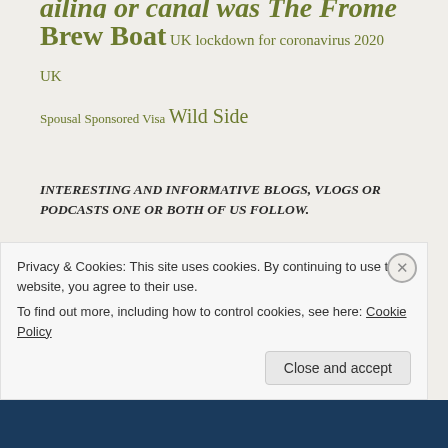Brew Boat UK lockdown for coronavirus 2020 UK
Spousal Sponsored Visa Wild Side
INTERESTING AND INFORMATIVE BLOGS, VLOGS OR PODCASTS ONE OR BOTH OF US FOLLOW.
Nb Stronghold
NB Waka Huia – The Treasure Box
Privacy & Cookies: This site uses cookies. By continuing to use this website, you agree to their use.
To find out more, including how to control cookies, see here: Cookie Policy